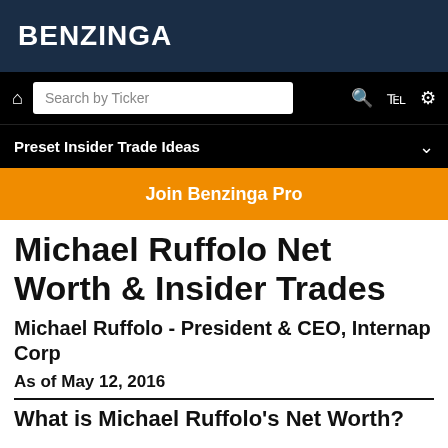BENZINGA
[Figure (screenshot): Benzinga navigation bar with home icon, search box labeled 'Search by Ticker', and icons for search, filters, and settings]
Preset Insider Trade Ideas
Join Benzinga Pro
Michael Ruffolo Net Worth & Insider Trades
Michael Ruffolo - President & CEO, Internap Corp
As of May 12, 2016
What is Michael Ruffolo's Net Worth?